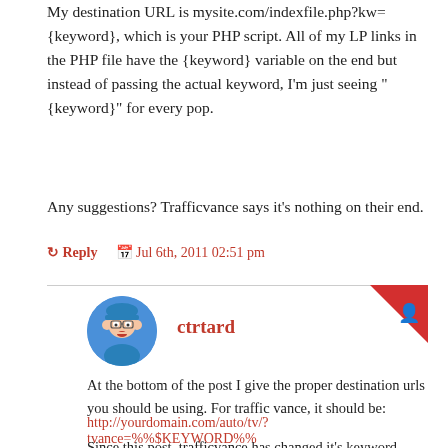My destination URL is mysite.com/indexfile.php?kw={keyword}, which is your PHP script. All of my LP links in the PHP file have the {keyword} variable on the end but instead of passing the actual keyword, I'm just seeing "{keyword}" for every pop.
Any suggestions? Trafficvance says it's nothing on their end.
↺ Reply  📅 Jul 6th, 2011 02:51 pm
ctrtard
At the bottom of the post I give the proper destination urls you should be using. For traffic vance, it should be:
http://yourdomain.com/auto/tv/?tvance=%%$KEYWORD%%
Since this post, trafficvance has changed it's keyword token, so now it should be: